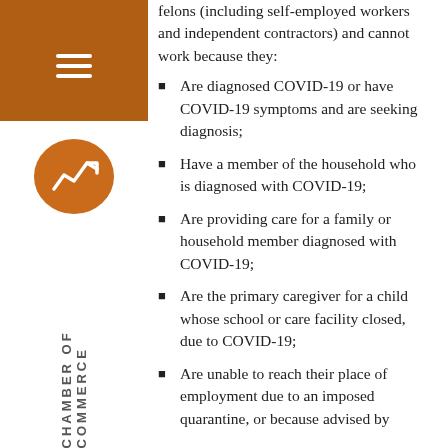felons (including self-employed workers and independent contractors) and cannot work because they:
Are diagnosed COVID-19 or have COVID-19 symptoms and are seeking diagnosis;
Have a member of the household who is diagnosed with COVID-19;
Are providing care for a family or household member diagnosed with COVID-19;
Are the primary caregiver for a child whose school or care facility closed, due to COVID-19;
Are unable to reach their place of employment due to an imposed quarantine, or because advised by